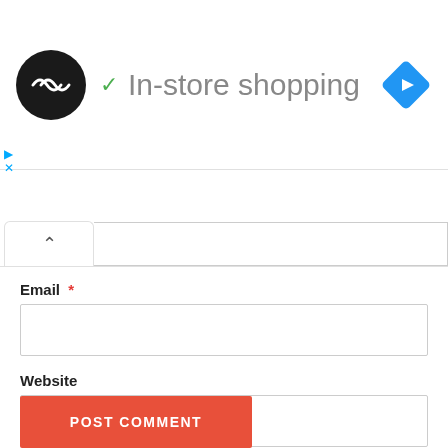In-store shopping
[Figure (screenshot): Website comment form showing Email field, Website field, save checkbox, and POST COMMENT button]
Email *
Website
Save my name, email, and website in this browser for the next time I comment.
POST COMMENT